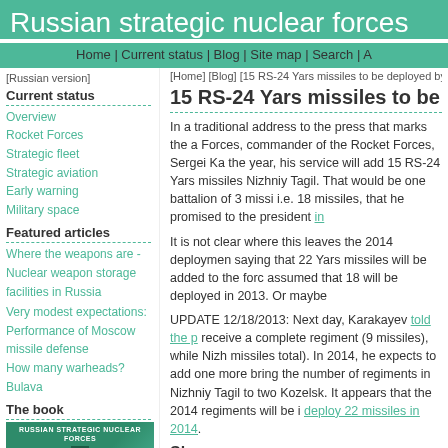Russian strategic nuclear forces
Home | Current status | Blog | Site map | Search | A
[Russian version]
[Home] [Blog] [15 RS-24 Yars missiles to be deployed by the
Current status
Overview
Rocket Forces
Strategic fleet
Strategic aviation
Early warning
Military space
Featured articles
Where the weapons are - Nuclear weapon storage facilities in Russia
Very modest expectations: Performance of Moscow missile defense
How many warheads?
Bulava
The book
[Figure (photo): Book cover for Russian Strategic Nuclear Forces]
15 RS-24 Yars missiles to be deployed by
In a traditional address to the press that marks the a Forces, commander of the Rocket Forces, Sergei Ka the year, his service will add 15 RS-24 Yars missiles Nizhniy Tagil. That would be one battalion of 3 missi i.e. 18 missiles, that he promised to the president in
It is not clear where this leaves the 2014 deployment saying that 22 Yars missiles will be added to the for assumed that 18 will be deployed in 2013. Or maybe
UPDATE 12/18/2013: Next day, Karakayev told the p receive a complete regiment (9 missiles), while Nizh missiles total). In 2014, he expects to add one more bring the number of regiments in Nizhniy Tagil to two Kozelsk. It appears that the 2014 regiments will be i deploy 22 missiles in 2014.
Share
Tweet